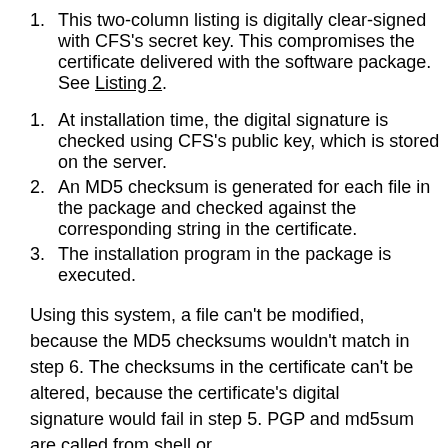1. This two-column listing is digitally clear-signed with CFS's secret key. This compromises the certificate delivered with the software package. See Listing 2.
1. At installation time, the digital signature is checked using CFS's public key, which is stored on the server.
2. An MD5 checksum is generated for each file in the package and checked against the corresponding string in the certificate.
3. The installation program in the package is executed.
Using this system, a file can't be modified, because the MD5 checksums wouldn't match in step 6. The checksums in the certificate can't be altered, because the certificate's digital signature would fail in step 5. PGP and md5sum are called from shell or